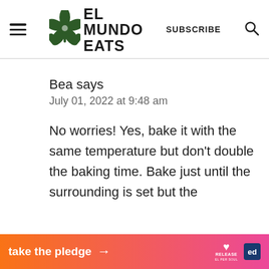EL MUNDO EATS — SUBSCRIBE
Bea says
July 01, 2022 at 9:48 am
No worries! Yes, bake it with the same temperature but don't double the baking time. Bake just until the surrounding is set but the
[Figure (infographic): Ad banner: 'take the pledge' with arrow, Release logo and Ed logo on gradient orange-to-pink background]